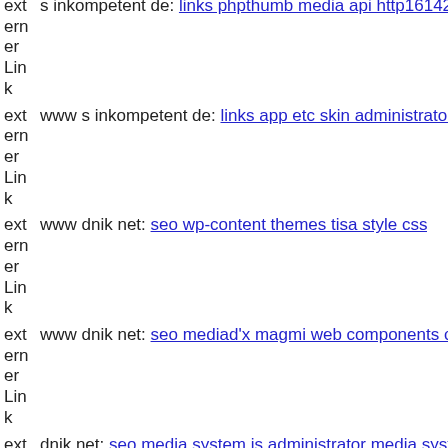externer Link  s inkompetent de: links phpthumb media api http16142476
externer Link  www s inkompetent de: links app etc skin administrator mo
externer Link  www dnik net: seo wp-content themes tisa style css
externer Link  www dnik net: seo mediad'x magmi web components com b
externer Link  dnik net: seo media system js administrator media system js
externer Link  www dnik net: seo media components com b2jcontact medi
externer Link  www s inkompetent de: links administrator components com
externer Link  www dnik net: seo media system js components com b2jco
externer Link  s inkompetent de: links wp-content themes coffeebreak php
externer Link  dnik net: seo wp-content plugins revolution-slider temp upd
externer Link  www dnik net: seo wp-content themes twentyfourteen web
externer Link  s inkompetent de: links phpthumb api admin